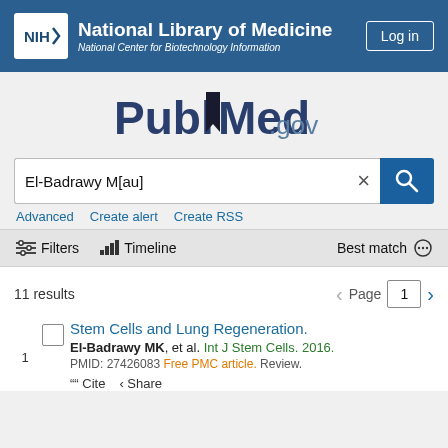[Figure (logo): NIH National Library of Medicine / National Center for Biotechnology Information header with blue background and Log in button]
[Figure (logo): PubMed.gov logo in center of gray search page]
El-Badrawy M[au]
Advanced   Create alert   Create RSS
Filters   Timeline   Best match
11 results   Page 1
Stem Cells and Lung Regeneration.
El-Badrawy MK, et al. Int J Stem Cells. 2016.
PMID: 27426083 Free PMC article. Review.
Cite   Share